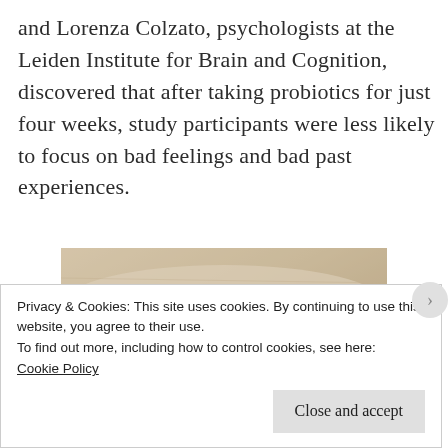and Lorenza Colzato, psychologists at the Leiden Institute for Brain and Cognition, discovered that after taking probiotics for just four weeks, study participants were less likely to focus on bad feelings and bad past experiences.
[Figure (photo): Close-up photograph of beige/tan fabric or cloth folded, showing texture and shadow]
Privacy & Cookies: This site uses cookies. By continuing to use this website, you agree to their use.
To find out more, including how to control cookies, see here: Cookie Policy